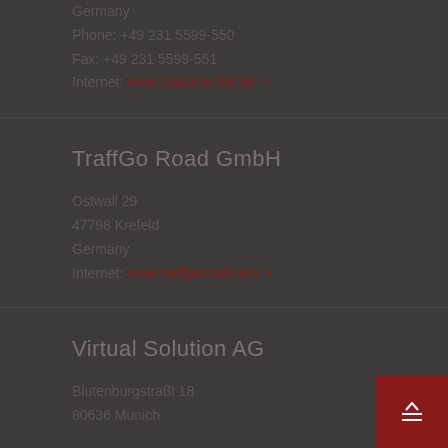Germany
Phone: +49 231 5599-550
Fax: +49 231 5599-551
Internet: www.materna-tmt.de ↗
TraffGo Road GmbH
Ostwall 29
47798 Krefeld
Germany
Internet: www.traffgoroad.com ↗
Virtual Solution AG
Blutenburgstraßl 18
80636 Munich